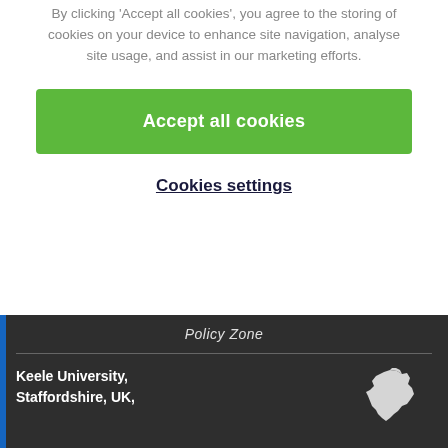By clicking 'Accept all cookies', you agree to the storing of cookies on your device to enhance site navigation, analyse site usage, and assist in our marketing efforts.
Accept all cookies
Cookies settings
Policy Zone
Keele University, Staffordshire, UK,